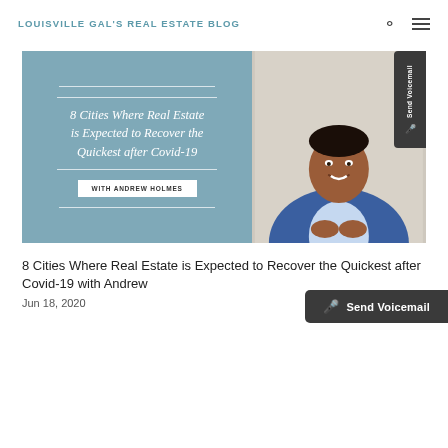LOUISVILLE GAL'S REAL ESTATE BLOG
[Figure (photo): Blog post featured image with text overlay. Left side: steel blue panel with italic script text '8 Cities Where Real Estate is Expected to Recover the Quickest after Covid-19' and a white button 'WITH ANDREW HOLMES'. Right side: photo of a smiling man in a blue blazer seated.]
8 Cities Where Real Estate is Expected to Recover the Quickest after Covid-19 with Andrew
Jun 18, 2020